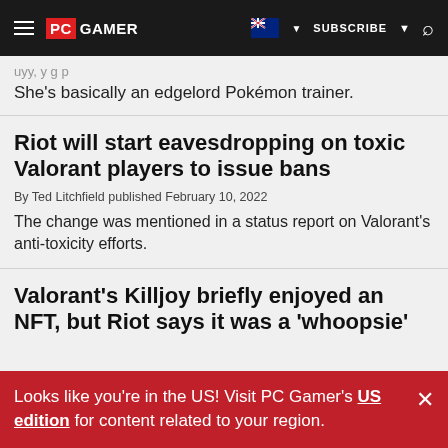PC GAMER | SUBSCRIBE | Search
She's basically an edgelord Pokémon trainer.
Riot will start eavesdropping on toxic Valorant players to issue bans
By Ted Litchfield published February 10, 2022
The change was mentioned in a status report on Valorant's anti-toxicity efforts.
Valorant's Killjoy briefly enjoyed an NFT, but Riot says it was a 'whoopsie'
Looks like you're in the US! Visit PC Gamer's US edition for content related to your region.